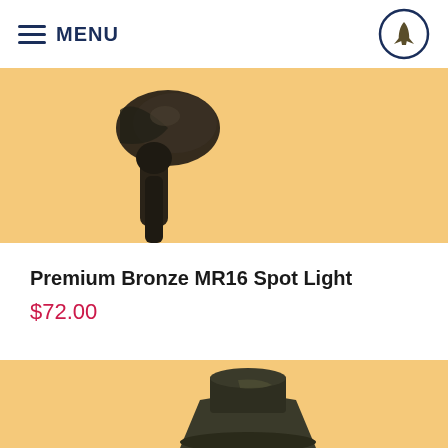MENU
[Figure (photo): Close-up of a dark bronze MR16 spot light fixture mounted on a stake, shown against a warm tan/peach background. The lamp head and adjustable neck are visible.]
Premium Bronze MR16 Spot Light
$72.00
[Figure (photo): Bottom portion of a second landscape lighting fixture shown against a warm tan/peach background, showing the base/stem of a bronze or dark metal light.]